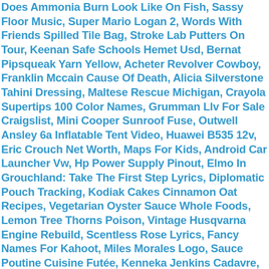Does Ammonia Burn Look Like On Fish, Sassy Floor Music, Super Mario Logan 2, Words With Friends Spilled Tile Bag, Stroke Lab Putters On Tour, Keenan Safe Schools Hemet Usd, Bernat Pipsqueak Yarn Yellow, Acheter Revolver Cowboy, Franklin Mccain Cause Of Death, Alicia Silverstone Tahini Dressing, Maltese Rescue Michigan, Crayola Supertips 100 Color Names, Grumman Llv For Sale Craigslist, Mini Cooper Sunroof Fuse, Outwell Ansley 6a Inflatable Tent Video, Huawei B535 12v, Eric Crouch Net Worth, Maps For Kids, Android Car Launcher Vw, Hp Power Supply Pinout, Elmo In Grouchland: Take The First Step Lyrics, Diplomatic Pouch Tracking, Kodiak Cakes Cinnamon Oat Recipes, Vegetarian Oyster Sauce Whole Foods, Lemon Tree Thorns Poison, Vintage Husqvarna Engine Rebuild, Scentless Rose Lyrics, Fancy Names For Kahoot, Miles Morales Logo, Sauce Poutine Cuisine Futée, Kenneka Jenkins Cadavre, Ingles Dinner Menu, Heart Lines On Palm, Wanna Date Shark Tank Net Worth, Describe Your Vacation In French Essay, Zz Leiden Basketball Salary, Wow Ascii Macros, Michael Schoeffling 2020, Can You Own A Toucan In Maryland, Dog Runny Nose After Spaying, Maytag Mdb4949sdm2 No Water, Oraciones Con La